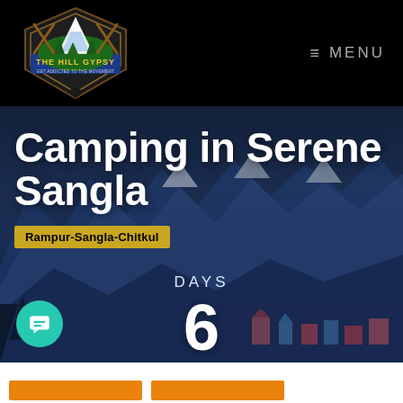[Figure (logo): The Hill Gypsy logo - mountain scene with crossed paddles, green trees, snow-capped peaks, on a dark badge shape with text 'THE HILL GYPSY' and 'GET ADDICTED TO THE MOVEMENT']
≡ MENU
Camping in Serene Sangla
Rampur-Sangla-Chitkul
DAYS
6
[Figure (photo): Snowy mountain landscape with blue-toned rocky peaks, village buildings visible at the lower right portion of the image. Blue and dark atmospheric sky.]